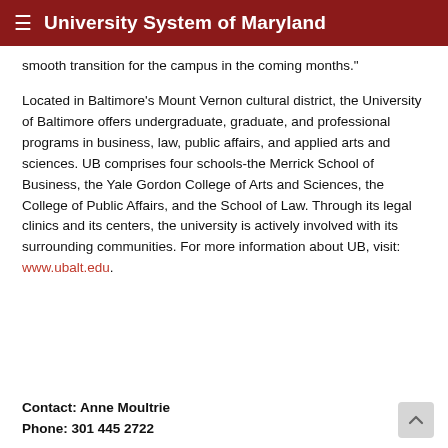University System of Maryland
smooth transition for the campus in the coming months."
Located in Baltimore's Mount Vernon cultural district, the University of Baltimore offers undergraduate, graduate, and professional programs in business, law, public affairs, and applied arts and sciences. UB comprises four schools-the Merrick School of Business, the Yale Gordon College of Arts and Sciences, the College of Public Affairs, and the School of Law. Through its legal clinics and its centers, the university is actively involved with its surrounding communities. For more information about UB, visit:  www.ubalt.edu.
Contact: Anne Moultrie
Phone:  301 445 2722